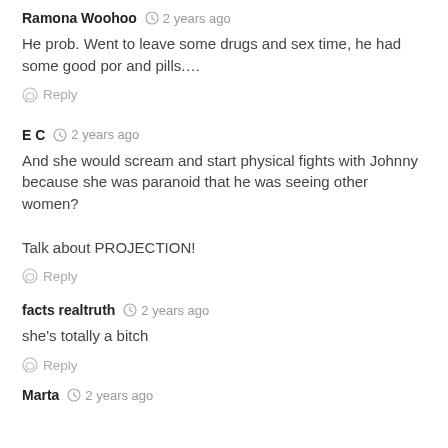Ramona Woohoo · 2 years ago
He prob. Went to leave some drugs and sex time, he had some good por and pills....
Reply
E C · 2 years ago
And she would scream and start physical fights with Johnny because she was paranoid that he was seeing other women?

Talk about PROJECTION!
Reply
facts realtruth · 2 years ago
she's totally a bitch
Reply
Marta · 2 years ago